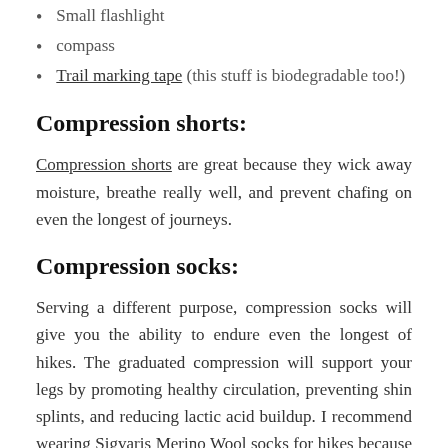Small flashlight
compass
Trail marking tape (this stuff is biodegradable too!)
Compression shorts:
Compression shorts are great because they wick away moisture, breathe really well, and prevent chafing on even the longest of journeys.
Compression socks:
Serving a different purpose, compression socks will give you the ability to endure even the longest of hikes. The graduated compression will support your legs by promoting healthy circulation, preventing shin splints, and reducing lactic acid buildup. I recommend wearing Sigvaris Merino Wool socks for hikes because they are soft, comfortable, and can